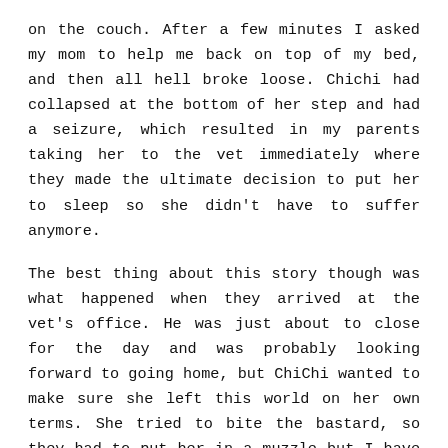on the couch. After a few minutes I asked my mom to help me back on top of my bed, and then all hell broke loose. Chichi had collapsed at the bottom of her step and had a seizure, which resulted in my parents taking her to the vet immediately where they made the ultimate decision to put her to sleep so she didn't have to suffer anymore.
The best thing about this story though was what happened when they arrived at the vet's office. He was just about to close for the day and was probably looking forward to going home, but ChiChi wanted to make sure she left this world on her own terms. She tried to bite the bastard, so they had to put her in a muzzle but I have to say, I hope when it's my time to go, I want the same amount of spunk in my veins to do something like that!
We are still healing after her loss. The house is definitely